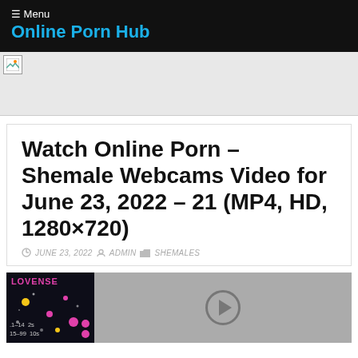☰ Menu
Online Porn Hub
[Figure (other): Broken image placeholder / advertisement banner area]
Watch Online Porn – Shemale Webcams Video for June 23, 2022 – 21 (MP4, HD, 1280×720)
JUNE 23, 2022  ADMIN  SHEMALES
[Figure (screenshot): Video thumbnail showing Lovense interface on left (dark background with pink/magenta Lovense logo, control sliders labeled .1-14, 2s, 15-99, 10s) and grey video player area on right with circular play button outline]